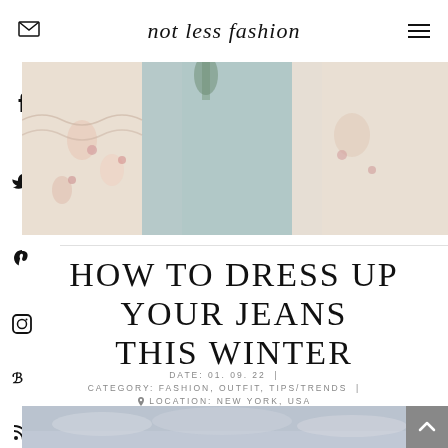not less fashion
[Figure (photo): Fashion photo showing women wearing floral and teal dresses outdoors, cropped at waist level]
HOW TO DRESS UP YOUR JEANS THIS WINTER
DATE: 01. 09. 22 | CATEGORY: FASHION, OUTFIT, TIPS/TRENDS | LOCATION: NEW YORK, USA
[Figure (photo): Outdoor scene with cloudy sky, bottom of page]